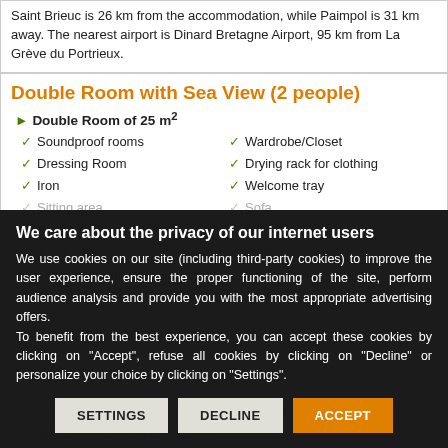Saint Brieuc is 26 km from the accommodation, while Paimpol is 31 km away. The nearest airport is Dinard Bretagne Airport, 95 km from La Grève du Portrieux.
Double Room with Sea View (2 people)
Double Room of 25 m²
Soundproof rooms
Wardrobe/Closet
Dressing Room
Drying rack for clothing
Iron
Welcome tray
Sitting area
Sofa
Hardwood/Parquet floors
Toilets
Toilet paper
Minibar
Cleaning products
We care about the privacy of our internet users
We use cookies on our site (including third-party cookies) to improve the user experience, ensure the proper functioning of the site, perform audience analysis and provide you with the most appropriate advertising offers.
To benefit from the best experience, you can accept these cookies by clicking on "Accept", refuse all cookies by clicking on "Decline" or personalize your choice by clicking on "Settings".
Recently deco... complete with TV, trouser press, tea & coffee making facilities, radio alarm, direct dial and...